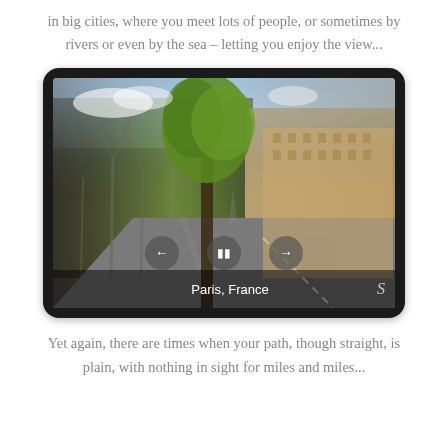in big cities, where you meet lots of people, or sometimes by rivers or even by the sea – letting you enjoy the view...
[Figure (photo): A street-level photo of Paris, France showing a tree-lined boulevard with the Louvre building on the right side. The image is displayed inside a tablet-like frame with playback controls (back, pause, forward) and a caption bar reading 'Paris, France' with a small logo.]
Yet again, there are times when your path, though straight, is plain, with nothing in sight for miles and miles...